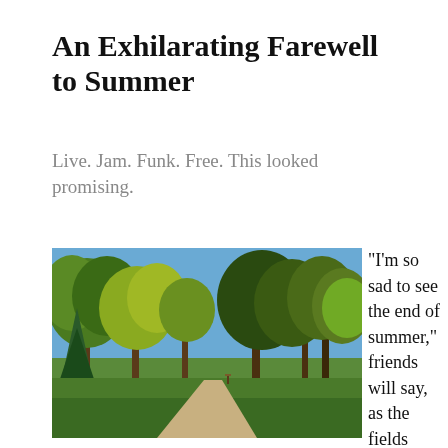An Exhilarating Farewell to Summer
Live. Jam. Funk. Free. This looked promising.
[Figure (photo): Outdoor park scene with tall green and yellow-leafed trees, a winding paved pathway, green grass lawn, and a blue sky.]
“I’m so sad to see the end of summer,” friends will say, as the fields